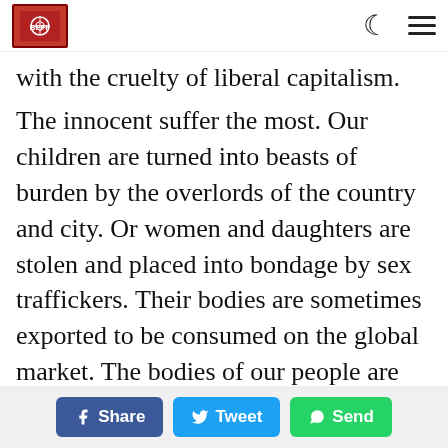[BFFF logo] [moon icon] [hamburger menu]
with the cruelty of liberal capitalism.
The innocent suffer the most. Our children are turned into beasts of burden by the overlords of the country and city. Or women and daughters are stolen and placed into bondage by sex traffickers. Their bodies are sometimes exported to be consumed on the global market. The bodies of our people are just another commodity to the empire: “She comes into the room swaddled in a red sari, carrying big premature black bags under her eyes. She tells her story in a slow, halting mumble
Share  Tweet  Send